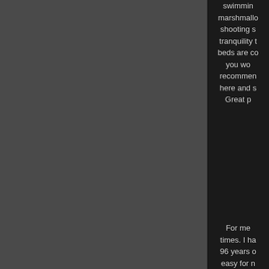swimmin marshmallo shooting s tranquility t beds are co you wo recommen here and s Great p
For me times. I ha 96 years o easy for n fant